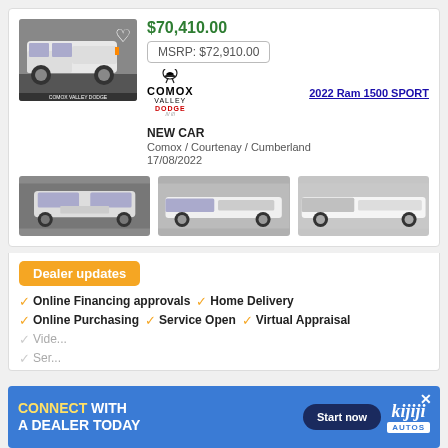$70,410.00
MSRP: $72,910.00
[Figure (logo): Comox Valley Dodge dealer logo with ram head icon]
2022 Ram 1500 SPORT
[Figure (photo): 2022 Ram 1500 Sport white truck main photo]
NEW CAR
Comox / Courtenay / Cumberland
17/08/2022
[Figure (photo): 2022 Ram 1500 Sport white truck front view thumbnail]
[Figure (photo): 2022 Ram 1500 Sport white truck 3/4 front view thumbnail]
[Figure (photo): 2022 Ram 1500 Sport white truck side view thumbnail]
Dealer updates
Online Financing approvals
Home Delivery
Online Purchasing
Service Open
Virtual Appraisal
CONNECT WITH A DEALER TODAY — Start now — kijiji AUTOS